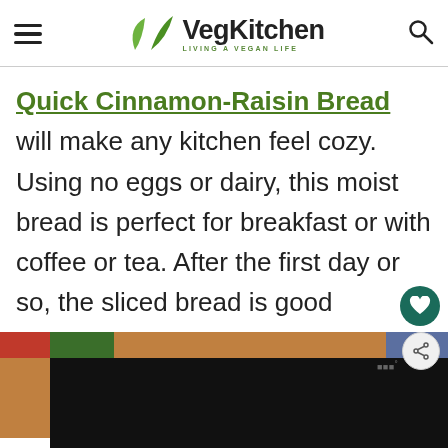VegKitchen — LIVING A VEGAN LIFE
Quick Cinnamon-Raisin Bread will make any kitchen feel cozy. Using no eggs or dairy, this moist bread is perfect for breakfast or with coffee or tea. After the first day or so, the sliced bread is good toasted.
[Figure (photo): Partial photo of cinnamon-raisin bread on a plate, bottom of page]